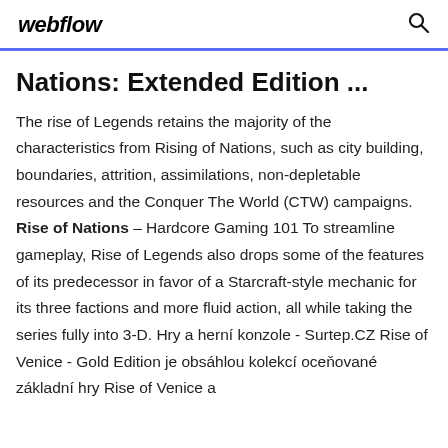webflow
Nations: Extended Edition ...
The rise of Legends retains the majority of the characteristics from Rising of Nations, such as city building, boundaries, attrition, assimilations, non-depletable resources and the Conquer The World (CTW) campaigns. Rise of Nations – Hardcore Gaming 101 To streamline gameplay, Rise of Legends also drops some of the features of its predecessor in favor of a Starcraft-style mechanic for its three factions and more fluid action, all while taking the series fully into 3-D. Hry a herní konzole - Surtep.CZ Rise of Venice - Gold Edition je obsáhlou kolekcí oceňované základní hry Rise of Venice a